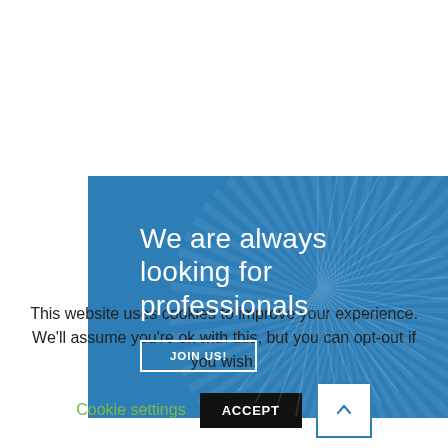[Figure (illustration): Blue banner image with text 'We are always looking for professionals' and a 'JOIN US!' button. Background has a radial burst pattern and silhouetted figures.]
This website uses cookies to improve your experience. We'll assume you're ok with this, but you can opt-out if you wish.
Cookie settings
ACCEPT